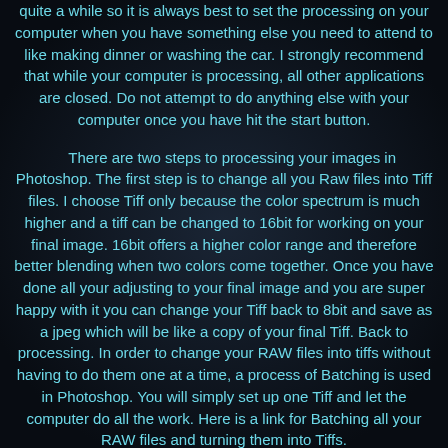quite a while so it is always best to set the processing on your computer when you have something else you need to attend to like making dinner or washing the car. I strongly recommend that while your computer is processing, all other applications are closed. Do not attempt to do anything else with your computer once you have hit the start button.
There are two steps to processing your images in Photoshop. The first step is to change all you Raw files into Tiff files. I choose Tiff only because the color spectrum is much higher and a tiff can be changed to 16bit for working on your final image. 16bit offers a higher color range and therefore better blending when two colors come together. Once you have done all your adjusting to your final image and you are super happy with it you can change your Tiff back to 8bit and save as a jpeg which will be like a copy of your final Tiff. Back to processing. In order to change your RAW files into tiffs without having to do them one at a time, a process of Batching is used in Photoshop. You will simply set up one Tiff and let the computer do all the work. Here is a link for Batching all your RAW files and turning them into Tiffs. http://ronbigelow.com/articles/batch/batch.htm This is